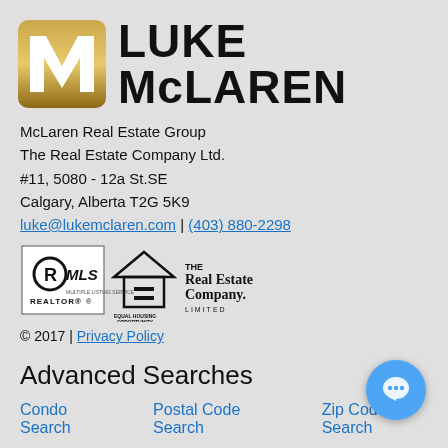[Figure (logo): Luke McLaren logo: gold square with white M icon, and text LUKE McLAREN in bold black]
McLaren Real Estate Group
The Real Estate Company Ltd.
#11, 5080 - 12a St.SE
Calgary, Alberta T2G 5K9
luke@lukemclaren.com | (403) 880-2298
[Figure (logo): Row of logos: REALTOR MLS, Equal Housing Opportunity, The Real Estate Company Limited]
© 2017 | Privacy Policy
Advanced Searches
Condo Search
Postal Code Search
Zip Code Search
Data is supplied by Pillar 9™ MLS® System. Pillar 9™ is owner of the copyright in its MLS® System. Data is deemed reliable but is not guaranteed accurate by Pillar 9™. The trademarks MLS®,